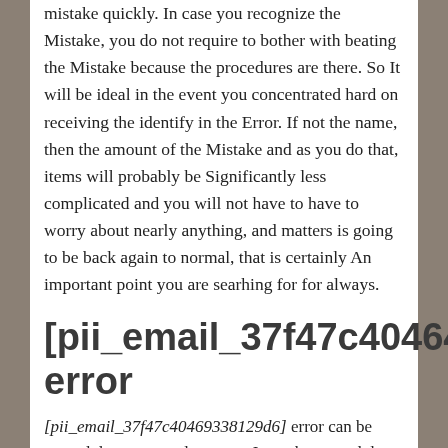mistake quickly. In case you recognize the Mistake, you do not require to bother with beating the Mistake because the procedures are there. So It will be ideal in the event you concentrated hard on receiving the identify in the Error. If not the name, then the amount of the Mistake and as you do that, items will probably be Significantly less complicated and you will not have to have to worry about nearly anything, and matters is going to be back again to normal, that is certainly An important point you are searhing for for always.
[pii_email_37f47c40464 error
[pii_email_37f47c40469338129d6] error can be caused due to several reasons. It can be caused due